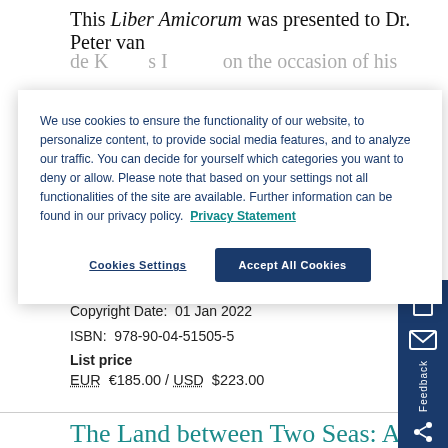This Liber Amicorum was presented to Dr. Peter van
We use cookies to ensure the functionality of our website, to personalize content, to provide social media features, and to analyze our traffic. You can decide for yourself which categories you want to deny or allow. Please note that based on your settings not all functionalities of the site are available. Further information can be found in our privacy policy. Privacy Statement
Cookies Settings
Accept All Cookies
Copyright Date:  01 Jan 2022
ISBN:  978-90-04-51505-5
List price
EUR  €185.00 / USD  $223.00
The Land between Two Seas: Art on the Move in the